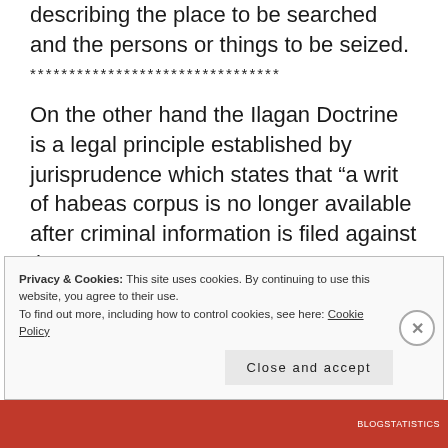describing the place to be searched and the persons or things to be seized.
********************************
On the other hand the Ilagan Doctrine is a legal principle established by jurisprudence which states that “a writ of habeas corpus is no longer available after criminal information is filed against the
Privacy & Cookies: This site uses cookies. By continuing to use this website, you agree to their use. To find out more, including how to control cookies, see here: Cookie Policy
Close and accept